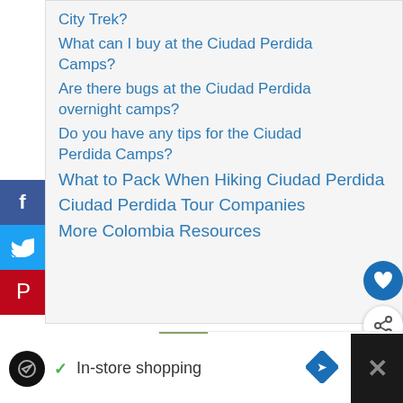City Trek?
What can I buy at the Ciudad Perdida Camps?
Are there bugs at the Ciudad Perdida overnight camps?
Do you have any tips for the Ciudad Perdida Camps?
What to Pack When Hiking Ciudad Perdida
Ciudad Perdida Tour Companies
More Colombia Resources
This post contains compensated links.